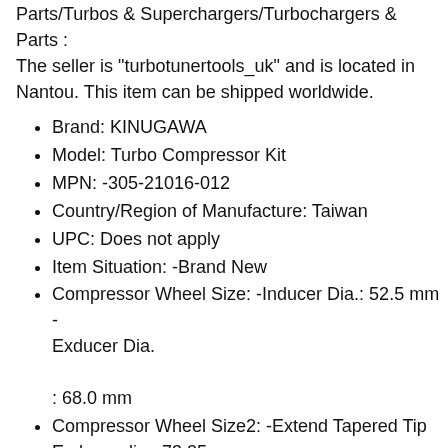Parts/Turbos & Superchargers/Turbochargers & Parts : The seller is "turbotunertools_uk" and is located in Nantou. This item can be shipped worldwide.
Brand: KINUGAWA
Model: Turbo Compressor Kit
MPN: -305-21016-012
Country/Region of Manufacture: Taiwan
UPC: Does not apply
Item Situation: -Brand New
Compressor Wheel Size: -Inducer Dia.: 52.5 mm -Exducer Dia.

: 68.0 mm
Compressor Wheel Size2: -Extend Tapered Tip Exducer dia : 73.05 mm
Compressor Wheel Size3: -Tip Height: 5.37 mm -Super Back Height: 2.90 mm
Compressor Wheel Size4: -Bore: 6.5 mm -Blade : 11...